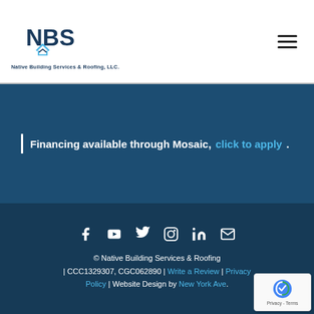[Figure (logo): NBS - Native Building Services & Roofing LLC logo with stylized house/roof icon]
| Financing available through Mosaic, click to apply.
[Figure (infographic): Social media icons: Facebook, YouTube, Twitter, Instagram, LinkedIn, Email]
© Native Building Services & Roofing | CCC1329307, CGC062890 | Write a Review | Privacy Policy | Website Design by New York Ave.